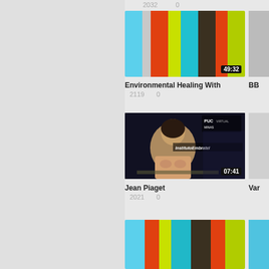2032   0
[Figure (screenshot): Color bar test pattern thumbnail with timer badge showing 49:32]
BB (partial title, cropped)
Environmental Healing With
2119   0
[Figure (screenshot): Video thumbnail showing a woman speaking at a desk with PUC Minas Virtual / InstitutoEmbratel overlay, timer badge 07:41]
Var (partial title, cropped)
Jean Piaget
2021   0
[Figure (screenshot): Color bar test pattern thumbnail, partially visible at bottom of page]